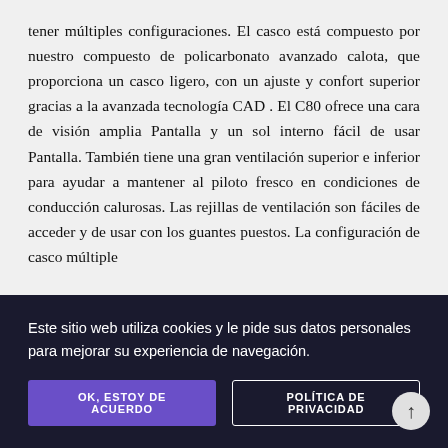tener múltiples configuraciones. El casco está compuesto por nuestro compuesto de policarbonato avanzado calota, que proporciona un casco ligero, con un ajuste y confort superior gracias a la avanzada tecnología CAD . El C80 ofrece una cara de visión amplia Pantalla y un sol interno fácil de usar Pantalla. También tiene una gran ventilación superior e inferior para ayudar a mantener al piloto fresco en condiciones de conducción calurosas. Las rejillas de ventilación son fáciles de acceder y de usar con los guantes puestos. La configuración de casco múltiple ... pico ... una ... l de ... para ... por
Este sitio web utiliza cookies y le pide sus datos personales para mejorar su experiencia de navegación.
OK, ESTOY DE ACUERDO
POLÍTICA DE PRIVACIDAD